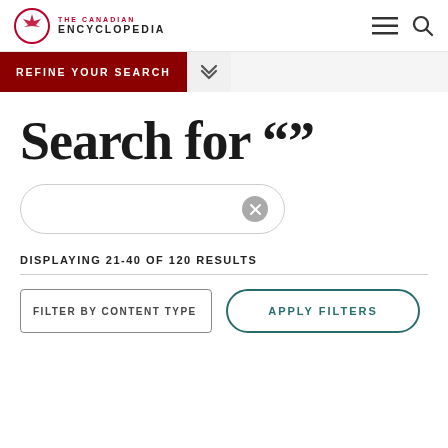THE CANADIAN ENCYCLOPEDIA
REFINE YOUR SEARCH
Search for ""
DISPLAYING 21-40 OF 120 RESULTS
FILTER BY CONTENT TYPE
APPLY FILTERS